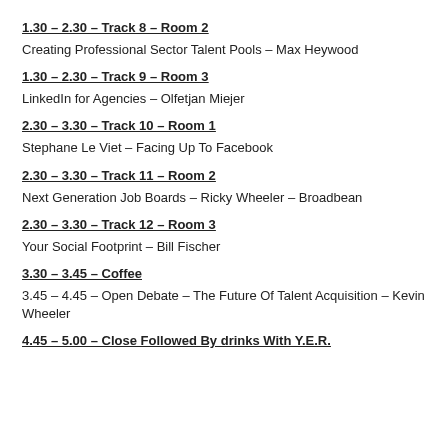1.30 – 2.30 – Track 8 – Room 2
Creating Professional Sector Talent Pools – Max Heywood
1.30 – 2.30 – Track 9 – Room 3
LinkedIn for Agencies – Olfetjan Miejer
2.30 – 3.30 – Track 10 – Room 1
Stephane Le Viet – Facing Up To Facebook
2.30 – 3.30 – Track 11 – Room 2
Next Generation Job Boards – Ricky Wheeler – Broadbean
2.30 – 3.30 – Track 12 – Room 3
Your Social Footprint – Bill Fischer
3.30 – 3.45 – Coffee
3.45 – 4.45 – Open Debate – The Future Of Talent Acquisition – Kevin Wheeler
4.45 – 5.00 – Close Followed By drinks With Y.E.R.